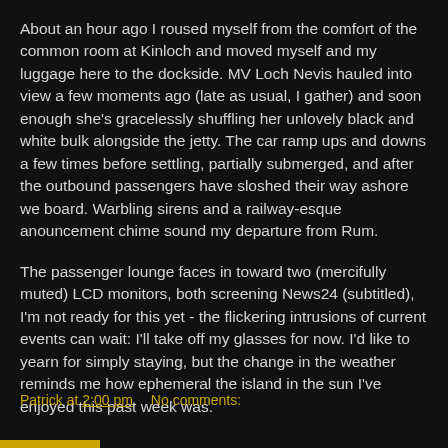About an hour ago I roused myself from the comfort of the common room at Kinloch and moved myself and my luggage here to the dockside. MV Loch Nevis hauled into view a few moments ago (late as usual, I gather) and soon enough she's gracelessly shuffling her unlovely black and white bulk alongside the jetty. The car ramp ups and downs a few times before settling, partially submerged, and after the outbound passengers have sloshed their way ashore we board. Warbling sirens and a railway-esque anouncement chime sound my departure from Rum.
The passenger lounge faces in toward two (mercifully muted) LCD monitors, both screening News24 (subtitled), I'm not ready for this yet - the flickering intrusions of current events can wait: I'll take off my glasses for now. I'd like to yearn for simply staying, but the change in the weather reminds me how ephemeral the island in the sun I've enjoyed this past week was.
Patrick at 2:00 pm    No comments: